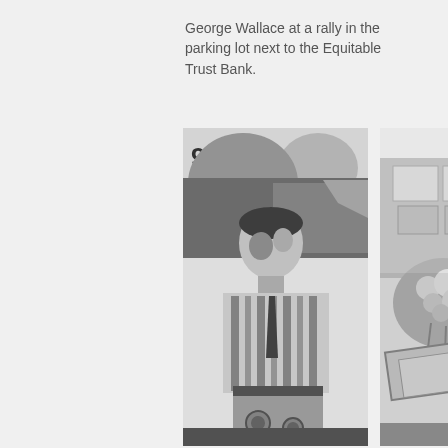George Wallace at a rally in the parking lot next to the Equitable Trust Bank.
[Figure (photo): Two black and white newspaper photographs side by side. Left photo shows a man (George Wallace) looking upward at a rally, with '972' visible at the top left corner of the image. Right photo shows a scene with flowers and what appears to be furniture or equipment at the rally location near the Equitable Trust Bank.]